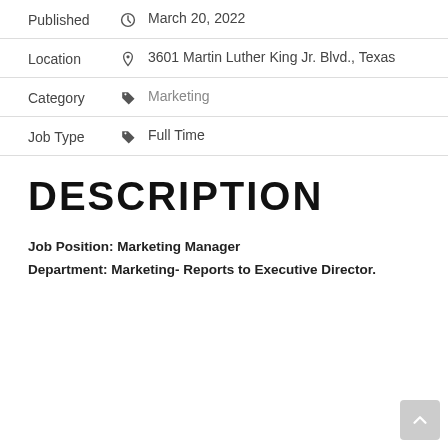Published  March 20, 2022
Location  3601 Martin Luther King Jr. Blvd., Texas
Category  Marketing
Job Type  Full Time
DESCRIPTION
Job Position: Marketing Manager
Department: Marketing- Reports to Executive Director.